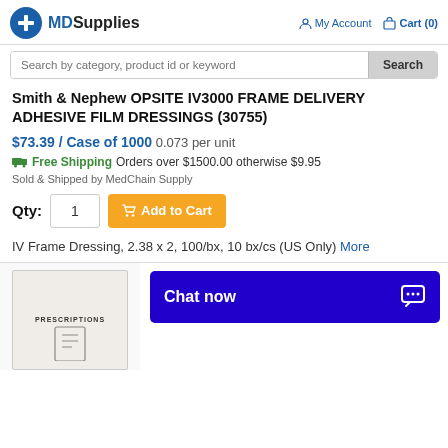MDSupplies  My Account  Cart (0)
Search by category, product id or keyword
Smith & Nephew OPSITE IV3000 FRAME DELIVERY ADHESIVE FILM DRESSINGS (30755)
$73.39 / Case of 1000  0.073 per unit
Free Shipping  Orders over $1500.00 otherwise $9.95
Sold & Shipped by MedChain Supply
Qty: 1  Add to Cart
IV Frame Dressing, 2.38 x 2, 100/bx, 10 bx/cs (US Only)  More
[Figure (photo): Product image showing a prescription bag]
Chat now